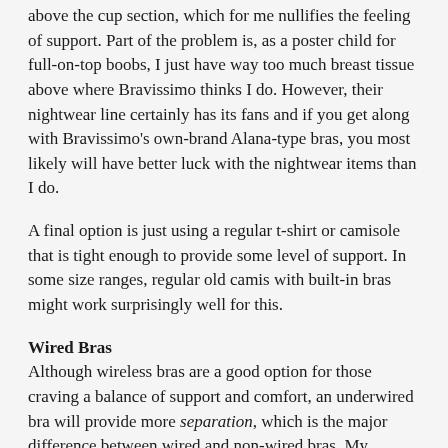above the cup section, which for me nullifies the feeling of support. Part of the problem is, as a poster child for full-on-top boobs, I just have way too much breast tissue above where Bravissimo thinks I do. However, their nightwear line certainly has its fans and if you get along with Bravissimo's own-brand Alana-type bras, you most likely will have better luck with the nightwear items than I do.
A final option is just using a regular t-shirt or camisole that is tight enough to provide some level of support. In some size ranges, regular old camis with built-in bras might work surprisingly well for this.
Wired Bras
Although wireless bras are a good option for those craving a balance of support and comfort, an underwired bra will provide more separation, which is the major difference between wired and non-wired bras. My personal pet peeve is having my boobs touch in the middle all night, which makes it impossible for me to get comfortable, so wireless options are no good for me. I do NOT recommend wearing an underwired bra at night to those who find it uncomfortable--don't put yourself through pain; it's not for